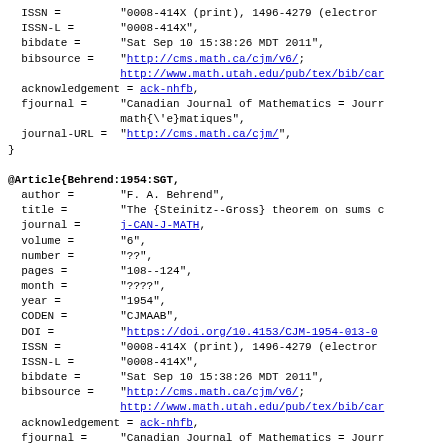ISSN = "0008-414X (print), 1496-4279 (electron:
  ISSN-L = "0008-414X",
  bibdate = "Sat Sep 10 15:38:26 MDT 2011",
  bibsource = "http://cms.math.ca/cjm/v6/;
              http://www.math.utah.edu/pub/tex/bib/car
  acknowledgement = ack-nhfb,
  fjournal = "Canadian Journal of Mathematics = Jourr
              math{\'e}matiques",
  journal-URL = "http://cms.math.ca/cjm/",
}

@Article{Behrend:1954:SGT,
  author = "F. A. Behrend",
  title = "The {Steinitz--Gross} theorem on sums c
  journal = j-CAN-J-MATH,
  volume = "6",
  number = "??",
  pages = "108--124",
  month = "????",
  year = "1954",
  CODEN = "CJMAAB",
  DOI = "https://doi.org/10.4153/CJM-1954-013-0
  ISSN = "0008-414X (print), 1496-4279 (electron:
  ISSN-L = "0008-414X",
  bibdate = "Sat Sep 10 15:38:26 MDT 2011",
  bibsource = "http://cms.math.ca/cjm/v6/;
              http://www.math.utah.edu/pub/tex/bib/car
  acknowledgement = ack-nhfb,
  fjournal = "Canadian Journal of Mathematics = Jourr
              math{\'e}matiques",